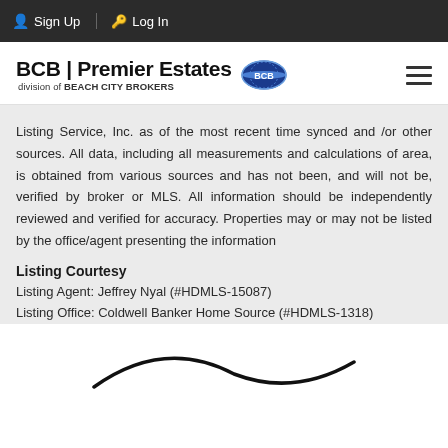Sign Up  Log In
[Figure (logo): BCB | Premier Estates, division of BEACH CITY BROKERS logo with Beach City Brokers globe icon and hamburger menu]
Listing Service, Inc. as of the most recent time synced and /or other sources. All data, including all measurements and calculations of area, is obtained from various sources and has not been, and will not be, verified by broker or MLS. All information should be independently reviewed and verified for accuracy. Properties may or may not be listed by the office/agent presenting the information
Listing Courtesy
Listing Agent: Jeffrey Nyal (#HDMLS-15087)
Listing Office: Coldwell Banker Home Source (#HDMLS-1318)
[Figure (logo): Partial curved line logo at bottom of page]